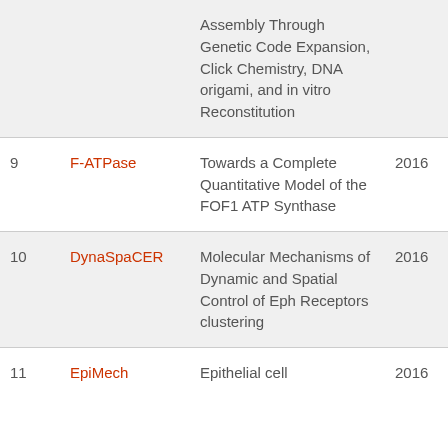| # | Name | Title | Year |
| --- | --- | --- | --- |
|  |  | Assembly Through Genetic Code Expansion, Click Chemistry, DNA origami, and in vitro Reconstitution |  |
| 9 | F-ATPase | Towards a Complete Quantitative Model of the FOF1 ATP Synthase | 2016 |
| 10 | DynaSpaCER | Molecular Mechanisms of Dynamic and Spatial Control of Eph Receptors clustering | 2016 |
| 11 | EpiMech | Epithelial cell | 2016 |